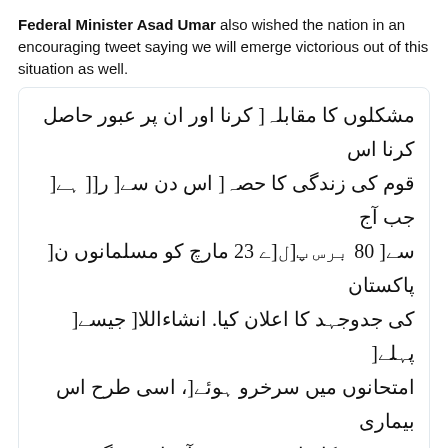Federal Minister Asad Umar also wished the nation in an encouraging tweet saying we will emerge victorious out of this situation as well.
[Figure (screenshot): Embedded tweet from Asad Umar (@Asad_Umar) dated March 23, 2020, containing Urdu text about Pakistan Day and overcoming hardships.]
We hope this Pakistan day, we all are able to understand the underlying meaning and importance of the words UNITY, FAITH & DISCIPLINE and remain committed to the nation-building falling...